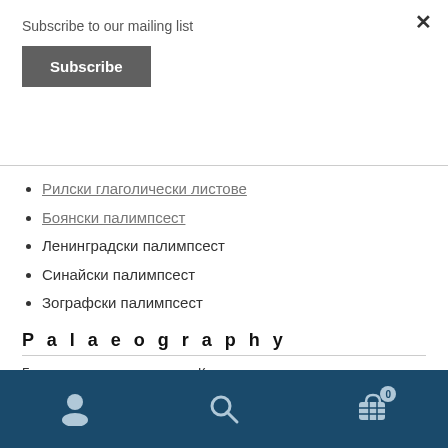Subscribe to our mailing list
Subscribe
Рилски глаголически листове
Боянски палимпсест
Ленинградски палимпсест
Синайски палимпсест
Зографски палимпсест
Palaeography
Екатерина Кислова: Палеография, библиография и история книги
Navigation bar with user, search, and cart icons